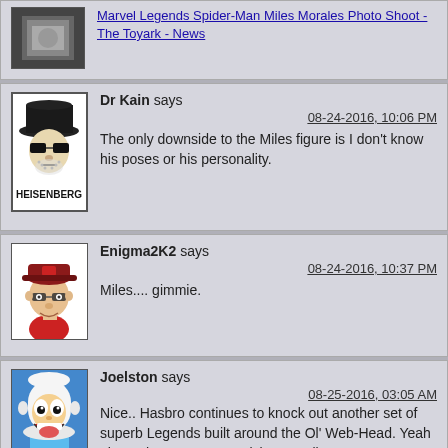[Figure (screenshot): Partial top comment with avatar (photo of action figure scene) and link text: Marvel Legends Spider-Man Miles Morales Photo Shoot - The Toyark - News]
Marvel Legends Spider-Man Miles Morales Photo Shoot - The Toyark - News
[Figure (illustration): Avatar: Heisenberg (Breaking Bad) illustration with hat, sunglasses, beard, and text HEISENBERG below]
Dr Kain says
08-24-2016, 10:06 PM
The only downside to the Miles figure is I don't know his poses or his personality.
[Figure (illustration): Avatar: Cartoon illustration of young man with red baseball cap, glasses, red shirt]
Enigma2K2 says
08-24-2016, 10:37 PM
Miles.... gimmie.
[Figure (illustration): Avatar: Cartoon illustration of Finn from Adventure Time with mouth open wide, wearing white hat, blue and green outfit]
Joelston says
08-25-2016, 03:05 AM
Nice.. Hasbro continues to knock out another set of superb Legends built around the Ol' Web-Head. Yeah I have that same compulsion to collect super-articulated Spideys! The recent SpiderVerse cross-over has really provided a lot (a lot a lot!!) of new source material (fan-favourites Silk and Spider-Gwen) and re-